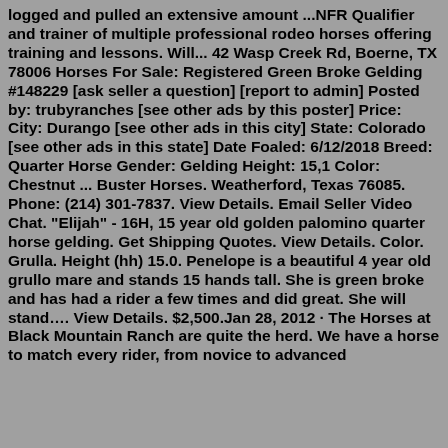logged and pulled an extensive amount ...NFR Qualifier and trainer of multiple professional rodeo horses offering training and lessons. Will... 42 Wasp Creek Rd, Boerne, TX 78006 Horses For Sale: Registered Green Broke Gelding #148229 [ask seller a question] [report to admin] Posted by: trubyranches [see other ads by this poster] Price: City: Durango [see other ads in this city] State: Colorado [see other ads in this state] Date Foaled: 6/12/2018 Breed: Quarter Horse Gender: Gelding Height: 15,1 Color: Chestnut ... Buster Horses. Weatherford, Texas 76085. Phone: (214) 301-7837. View Details. Email Seller Video Chat. "Elijah" - 16H, 15 year old golden palomino quarter horse gelding. Get Shipping Quotes. View Details. Color. Grulla. Height (hh) 15.0. Penelope is a beautiful 4 year old grullo mare and stands 15 hands tall. She is green broke and has had a rider a few times and did great. She will stand…. View Details. $2,500.Jan 28, 2012 · The Horses at Black Mountain Ranch are quite the herd. We have a horse to match every rider, from novice to advanced